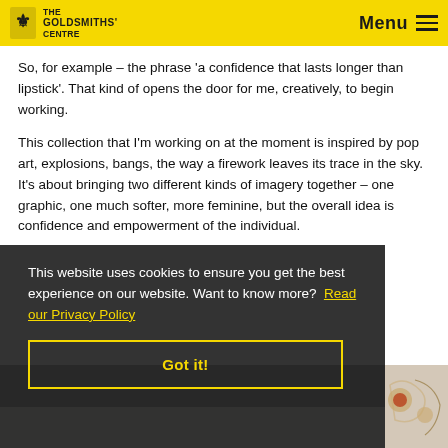The Goldsmiths' Centre — Menu
So, for example – the phrase 'a confidence that lasts longer than lipstick'. That kind of opens the door for me, creatively, to begin working.
This collection that I'm working on at the moment is inspired by pop art, explosions, bangs, the way a firework leaves its trace in the sky. It's about bringing two different kinds of imagery together – one graphic, one much softer, more feminine, but the overall idea is confidence and empowerment of the individual.
This website uses cookies to ensure you get the best experience on our website. Want to know more? Read our Privacy Policy
Got it!
[Figure (photo): Background image of jewellery pieces partially visible beneath the cookie consent overlay]